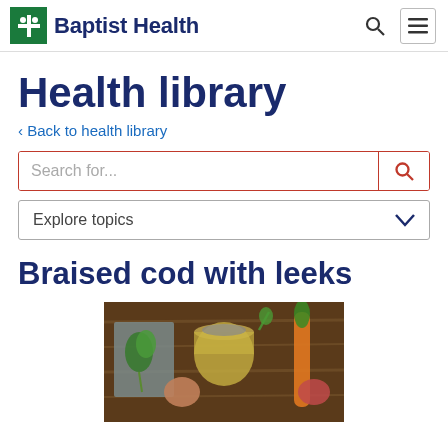Baptist Health
Health library
‹ Back to health library
Braised cod with leeks
[Figure (photo): Overhead view of food ingredients on a wooden cutting board including herbs, vegetables, a jar of liquid (likely broth), onions, and a carrot.]